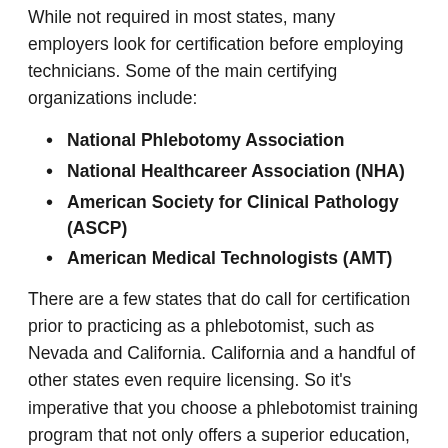While not required in most states, many employers look for certification before employing technicians. Some of the main certifying organizations include:
National Phlebotomy Association
National Healthcareer Association (NHA)
American Society for Clinical Pathology (ASCP)
American Medical Technologists (AMT)
There are a few states that do call for certification prior to practicing as a phlebotomist, such as Nevada and California. California and a handful of other states even require licensing. So it's imperative that you choose a phlebotomist training program that not only offers a superior education, but also readies you for any licensing or certification exams that you elect or are required to take.
Online Phlebotomy Training